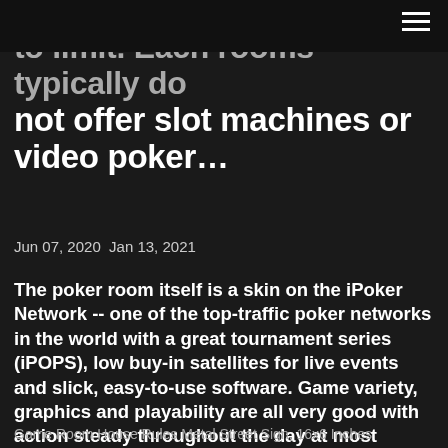≡
…to limit. Each rooms typically do not offer slot machines or video poker…
Jun 07, 2020 Jan 13, 2021
The poker room itself is a skin on the iPoker Network -- one of the top-traffic poker networks in the world with a great tournament series (iPOPS), low buy-in satellites for live events and slick, easy-to-use software. Game variety, graphics and playability are all very good with action steady throughout the day at most games and limits.
Game Room House Rules Metal Street Sign, 16x6 Inches